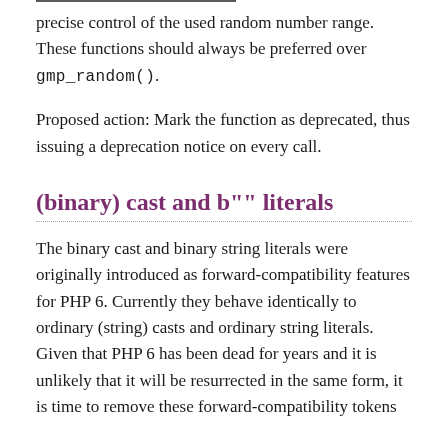precise control of the used random number range. These functions should always be preferred over gmp_random().
Proposed action: Mark the function as deprecated, thus issuing a deprecation notice on every call.
(binary) cast and b"" literals
The binary cast and binary string literals were originally introduced as forward-compatibility features for PHP 6. Currently they behave identically to ordinary (string) casts and ordinary string literals. Given that PHP 6 has been dead for years and it is unlikely that it will be resurrected in the same form, it is time to remove these forward-compatibility tokens